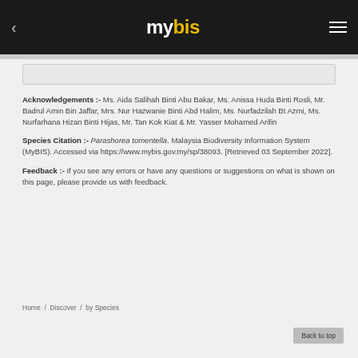mybis
Acknowledgements :- Ms. Aida Salihah Binti Abu Bakar, Ms. Anissa Huda Binti Rosli, Mr. Badrul Amin Bin Jaffar, Mrs. Nur Hazwanie Binti Abd Halim, Ms. Nurfadzilah Bt Azmi, Ms. Nurfarhana Hizan Binti Hijas, Mr. Tan Kok Kiat & Mr. Yasser Mohamed Arifin
Species Citation :- Parashorea tomentella. Malaysia Biodiversity Information System (MyBIS). Accessed via https://www.mybis.gov.my/sp/38093. [Retrieved 03 September 2022].
Feedback :- If you see any errors or have any questions or suggestions on what is shown on this page, please provide us with feedback.
Home / Discover / by Species